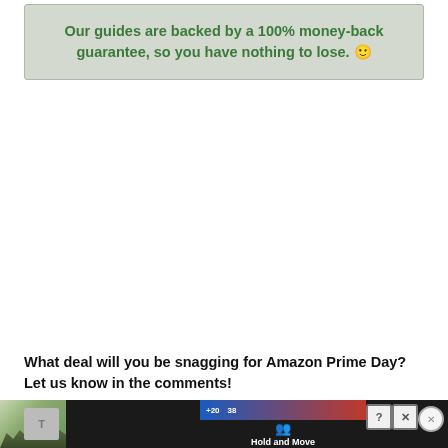Our guides are backed by a 100% money-back guarantee, so you have nothing to lose. 🙂
What deal will you be snagging for Amazon Prime Day? Let us know in the comments!
[Figure (screenshot): Advertisement banner at the bottom of the page showing a dark background with icons for a game or app called 'Hold and Move', with close and help buttons, and a partial thumbnail image on the left side]